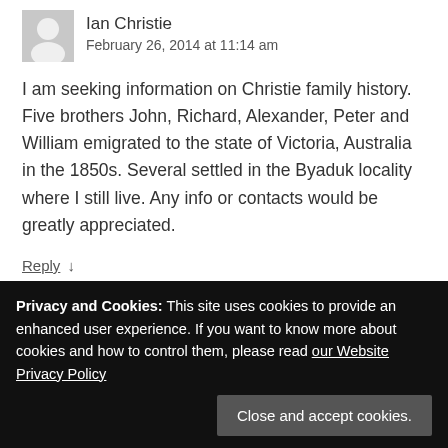Ian Christie
February 26, 2014 at 11:14 am
I am seeking information on Christie family history. Five brothers John, Richard, Alexander, Peter and William emigrated to the state of Victoria, Australia in the 1850s. Several settled in the Byaduk locality where I still live. Any info or contacts would be greatly appreciated.
Reply ↓
allie stewart
Privacy and Cookies: This site uses cookies to provide an enhanced user experience. If you want to know more about cookies and how to control them, please read our Website Privacy Policy
Close and accept cookies.
have a John Hay marrying Agnes Nelson in about 1734. He